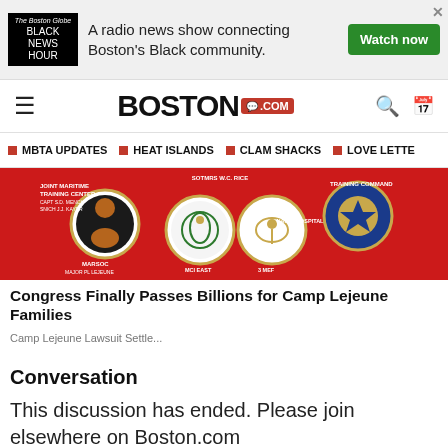[Figure (screenshot): Advertisement banner: Black News Hour radio show. Logo on left with 'BLACK NEWS HOUR' text on black background, ad text 'A radio news show connecting Boston's Black community.', green 'Watch now' button on right, X close button top right.]
BOSTON .com
MBTA UPDATES  HEAT ISLANDS  CLAM SHACKS  LOVE LETTE
[Figure (photo): Red background military insignia board showing various Marine and Navy unit patches/seals arranged in circular medallions.]
Congress Finally Passes Billions for Camp Lejeune Families
Camp Lejeune Lawsuit Settle...
Conversation
This discussion has ended. Please join elsewhere on Boston.com
Most Popular